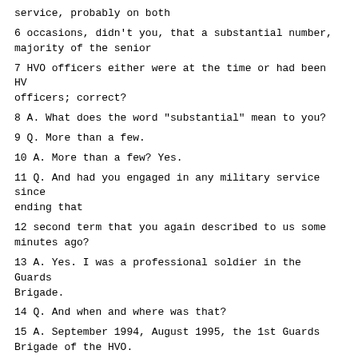service, probably on both
6 occasions, didn't you, that a substantial number, majority of the senior
7 HVO officers either were at the time or had been HV officers; correct?
8 A. What does the word "substantial" mean to you?
9 Q. More than a few.
10 A. More than a few? Yes.
11 Q. And had you engaged in any military service since ending that
12 second term that you again described to us some minutes ago?
13 A. Yes. I was a professional soldier in the Guards Brigade.
14 Q. And when and where was that?
15 A. September 1994, August 1995, the 1st Guards Brigade of the HVO.
16 Q. Who was the commander of the 1st Guards Brigade of the HVO?
17 A. Zeliko Vlasanovic [As interpreted].